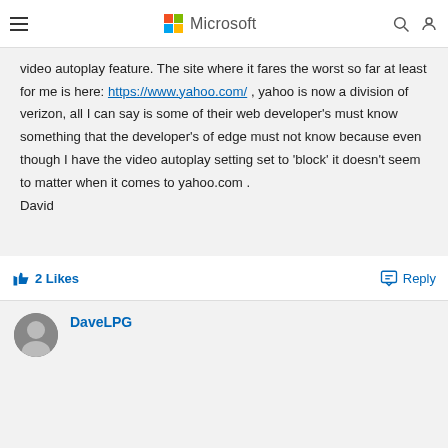Microsoft
video autoplay feature. The site where it fares the worst so far at least for me is here: https://www.yahoo.com/ , yahoo is now a division of verizon, all I can say is some of their web developer's must know something that the developer's of edge must not know because even though I have the video autoplay setting set to 'block' it doesn't seem to matter when it comes to yahoo.com .
David
2 Likes
Reply
DaveLPG